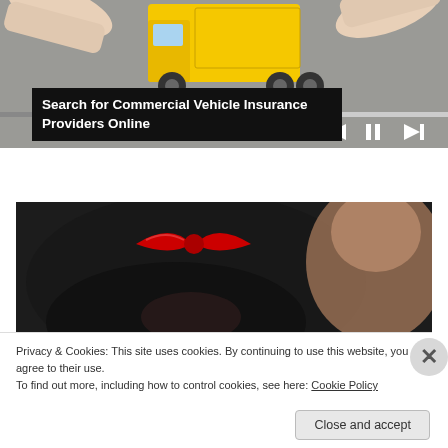[Figure (photo): Hands holding a toy yellow truck, video player with progress bar and playback controls (skip back, pause, skip forward) visible]
Search for Commercial Vehicle Insurance Providers Online
[Figure (photo): Close-up of a woman with black hair wearing a large red bow hair accessory, another person blurred in background]
Privacy & Cookies: This site uses cookies. By continuing to use this website, you agree to their use.
To find out more, including how to control cookies, see here: Cookie Policy
Close and accept